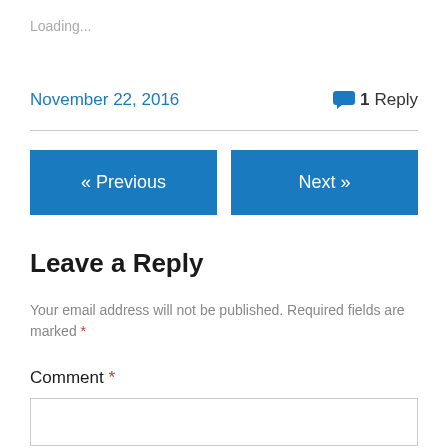Loading...
November 22, 2016
1 Reply
« Previous
Next »
Leave a Reply
Your email address will not be published. Required fields are marked *
Comment *